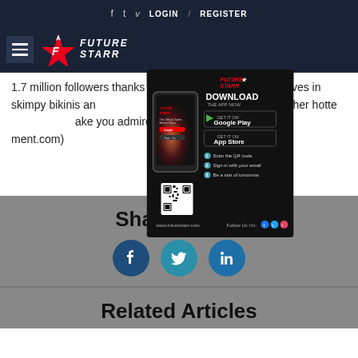f  t  v  LOGIN  /  REGISTER
[Figure (logo): Future Starr logo with red star icon and white text on dark navy background, with hamburger menu icon]
1.7 million followers thanks to her regularly display of curves in skimpy bikinis and let's check out some of her hottest make you admire her even more! (S...ment.com)
[Figure (screenshot): Future Starr app advertisement showing phone mockup with download buttons for Google Play and App Store, QR code, and steps to get started]
Share Article
[Figure (infographic): Social share icons: Facebook (blue circle), Twitter (teal circle), LinkedIn (blue circle)]
Related Articles